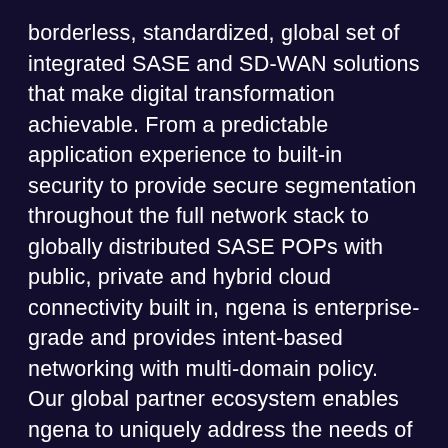borderless, standardized, global set of integrated SASE and SD-WAN solutions that make digital transformation achievable. From a predictable application experience to built-in security to provide secure segmentation throughout the full network stack to globally distributed SASE POPs with public, private and hybrid cloud connectivity built in, ngena is enterprise-grade and provides intent-based networking with multi-domain policy. Our global partner ecosystem enables ngena to uniquely address the needs of multinational enterprises, leapfrog the managed services competition and to deliver SASE, and SD-WAN connectivity as-a-Service for enterprises.
And ngena delivers your network through their revolutionary .connect platform, with unique user experience and build-in simplification for full lifecycle